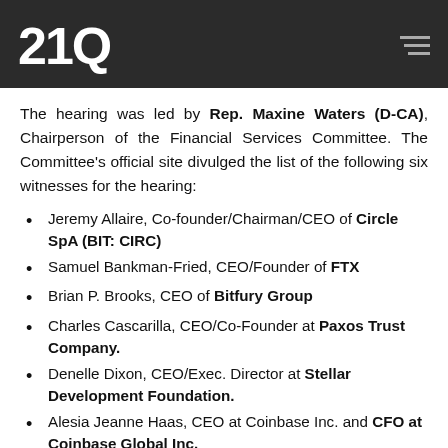21Q
The hearing was led by Rep. Maxine Waters (D-CA), Chairperson of the Financial Services Committee. The Committee's official site divulged the list of the following six witnesses for the hearing:
Jeremy Allaire, Co-founder/Chairman/CEO of Circle SpA (BIT: CIRC)
Samuel Bankman-Fried, CEO/Founder of FTX
Brian P. Brooks, CEO of Bitfury Group
Charles Cascarilla, CEO/Co-Founder at Paxos Trust Company.
Denelle Dixon, CEO/Exec. Director at Stellar Development Foundation.
Alesia Jeanne Haas, CEO at Coinbase Inc. and CFO at Coinbase Global Inc.